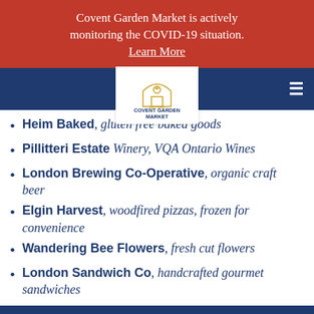Covent Garden Market is actively monitoring the COVID-19 situation. Learn More
[Figure (logo): Covent Garden Market logo with arch/building icon]
Heim Baked, gluten free baked goods
Pillitteri Estates Winery, VQA Ontario Wines
London Brewing Co-Operative, organic craft beer
Elgin Harvest, woodfired pizzas, frozen for convenience
Wandering Bee Flowers, fresh cut flowers
London Sandwich Co, handcrafted gourmet sandwiches
HOURS | PARKING